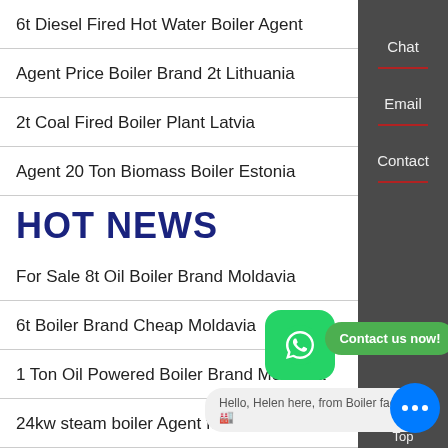6t Diesel Fired Hot Water Boiler Agent
Agent Price Boiler Brand 2t Lithuania
2t Coal Fired Boiler Plant Latvia
Agent 20 Ton Biomass Boiler Estonia
HOT NEWS
For Sale 8t Oil Boiler Brand Moldavia
6t Boiler Brand Cheap Moldavia
1 Ton Oil Powered Boiler Brand Moldavia
24kw steam boiler Agent for steam tunnel
Cheap 8t Gas Boiler Machine Kyrgyzstan
[Figure (infographic): WhatsApp green icon, Contact us now! green button, chat bubble saying Hello, Helen here, from Boiler factory, and blue chat circle with ellipsis icon]
Chat
Email
Contact
Top